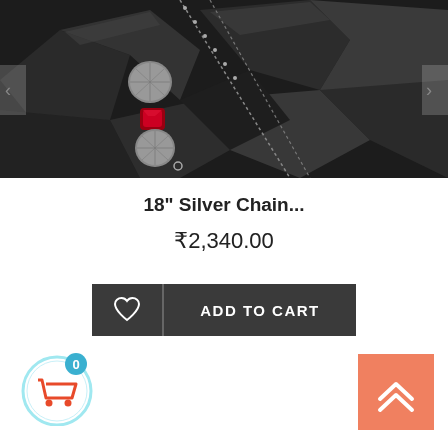[Figure (photo): Product photo of a silver chain necklace with red gemstone bead and silver mesh beads against dark charcoal background]
18" Silver Chain...
₹2,340.00
ADD TO CART